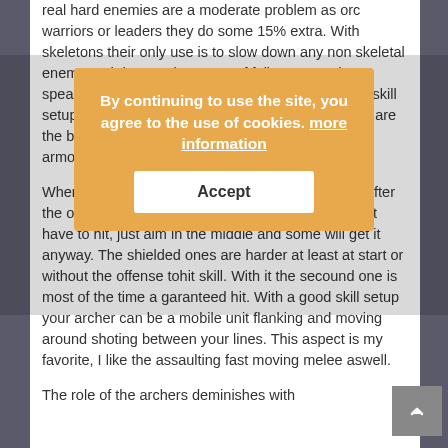real hard enemies are a moderate problem as orc warriors or leaders they do some 15% extra. With skeletons their only use is to slow down any non skeletal enemy and destroy the armor of fallen ones. The spearmen/halberdiers are situational depending on skill setups and they are the ones who die usually. They are the bait for ghouls vamps wolves etc. With medium armor and shields.
[Figure (screenshot): Cookie consent overlay with orange background. Text reads: 'By continuing to use the site, you agree to the use of cookies. more information' with an 'Accept' button.]
When the enemy clusters up is a want to scenario after the one when you have the higher ground. You don't have to hit, just aim in the middle and some will get it anyway. The shielded ones are harder at least at start or without the offense tohit skill. With it the secound one is most of the time a garanteed hit. With a good skill setup your archer can be a mobile unit flanking and moving around shoting between your lines. This aspect is my favorite, I like the assaulting fast moving melee aswell.
The role of the archers deminishes with